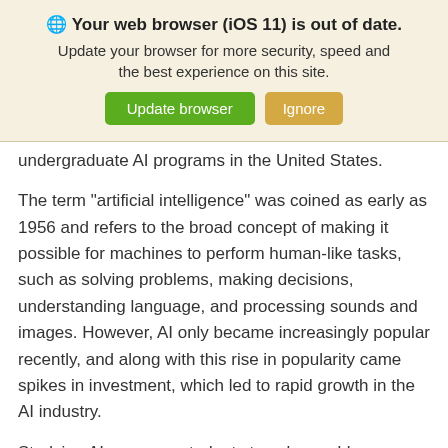[Figure (screenshot): Browser update notification banner with globe icon, title 'Your web browser (iOS 11) is out of date.', subtitle text, and two buttons: 'Update browser' (green) and 'Ignore' (tan/yellow).]
undergraduate AI programs in the United States.
The term “artificial intelligence” was coined as early as 1956 and refers to the broad concept of making it possible for machines to perform human-like tasks, such as solving problems, making decisions, understanding language, and processing sounds and images. However, AI only became increasingly popular recently, and along with this rise in popularity came spikes in investment, which led to rapid growth in the AI industry.
Studying AI prepares students to solve problems